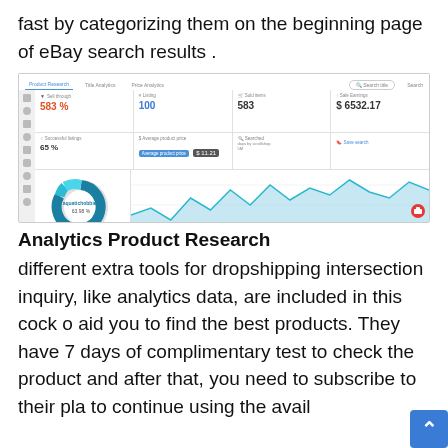fast by categorizing them on the beginning page of eBay search results .
[Figure (screenshot): Screenshot of an eBay analytics dashboard showing sell-through rate 583%, listings 100, sold items 583, sale earnings $6532.17, successful listings 65%, and analytics charts including a donut chart (aquatichobbies 63.98%) and a line/area chart.]
Analytics Product Research
different extra tools for dropshipping intersection inquiry, like analytics data, are included in this cock o aid you to find the best products. They have 7 days of complimentary test to check the product and after that, you need to subscribe to their pla to continue using the avail